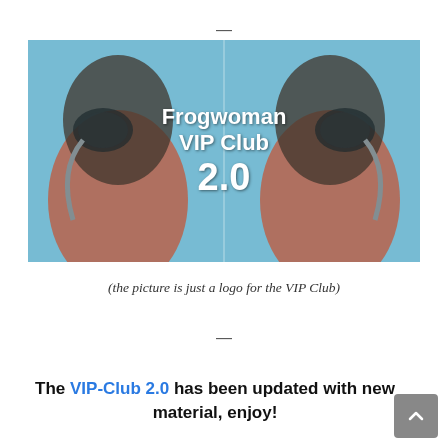[Figure (logo): Frogwoman VIP Club 2.0 logo — two mirrored images of a woman wearing scuba diving mask and snorkel, with a blue sky background, white bold text overlay reading 'Frogwoman VIP Club 2.0']
(the picture is just a logo for the VIP Club)
The VIP-Club 2.0 has been updated with new material, enjoy!